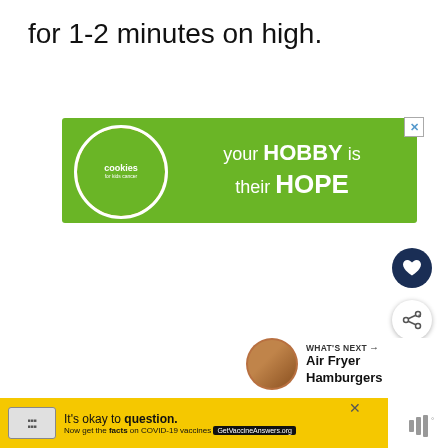for 1-2 minutes on high.
[Figure (infographic): Green banner ad for Cookies for Kids Cancer reading 'your HOBBY is their HOPE' with a circular photo of hands holding a heart-shaped cookie and the Cookies for Kids Cancer logo on the left.]
[Figure (infographic): Dark navy circular button with a white heart icon (favorite/save button)]
[Figure (infographic): White circular share button with share icon]
[Figure (infographic): WHAT'S NEXT section showing a thumbnail of a hamburger and text 'Air Fryer Hamburgers']
[Figure (infographic): Yellow banner advertisement reading 'It’s okay to question. Now get the facts on COVID-19 vaccines GetVaccineAnswers.org' with a stamp-like image on the left and a close X button. A muted icon appears at the right.]